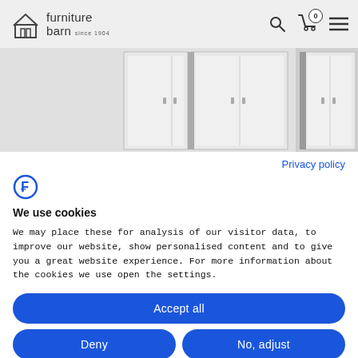furniture barn since 1904
[Figure (photo): White wardrobe/cabinet furniture product images shown in a strip]
Privacy policy
[Figure (logo): Cookiebot logo - stylized F in a circle]
We use cookies
We may place these for analysis of our visitor data, to improve our website, show personalised content and to give you a great website experience. For more information about the cookies we use open the settings.
Accept all
Deny
No, adjust